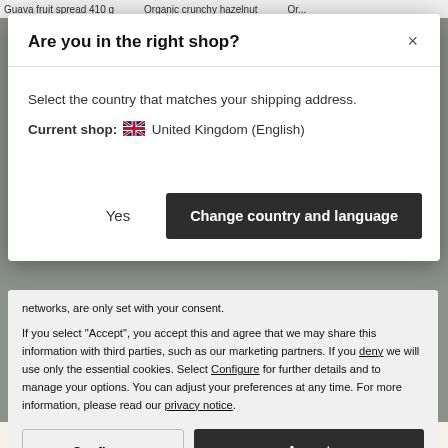Guava fruit spread 410 g   Organic crunchy hazelnut   Or...
Are you in the right shop?
Select the country that matches your shipping address.
Current shop: 🇬🇧 United Kingdom (English)
Yes
Change country and language
networks, are only set with your consent.
If you select "Accept", you accept this and agree that we may share this information with third parties, such as our marketing partners. If you deny we will use only the essential cookies. Select Configure for further details and to manage your options. You can adjust your preferences at any time. For more information, please read our privacy notice.
Configure
Accept
★★★★★ (315)   ★★★★★ (134)